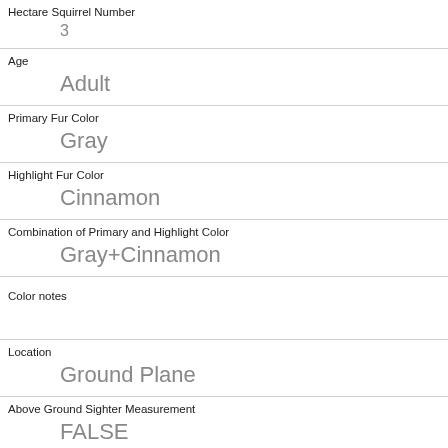| Field | Value |
| --- | --- |
| Hectare Squirrel Number | 3 |
| Age | Adult |
| Primary Fur Color | Gray |
| Highlight Fur Color | Cinnamon |
| Combination of Primary and Highlight Color | Gray+Cinnamon |
| Color notes |  |
| Location | Ground Plane |
| Above Ground Sighter Measurement | FALSE |
| Specific Location |  |
| Running | 0 |
| Chasing |  |